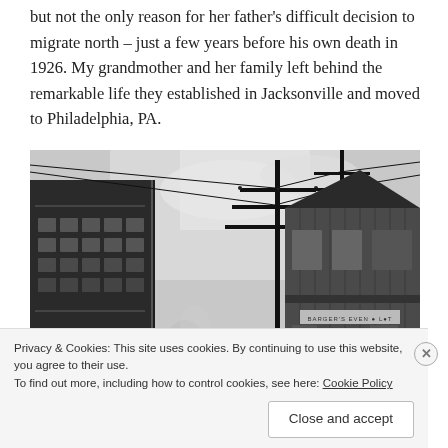but not the only reason for her father's difficult decision to migrate north – just a few years before his own death in 1926. My grandmother and her family left behind the remarkable life they established in Jacksonville and moved to Philadelphia, PA.
[Figure (photo): Black and white historical photograph showing a train with passenger cars on the left side, telegraph/utility poles in the center, and a wooden building with a sign on the right side. Overhead wires cross the scene. Appears to be a railroad station or depot.]
Privacy & Cookies: This site uses cookies. By continuing to use this website, you agree to their use.
To find out more, including how to control cookies, see here: Cookie Policy